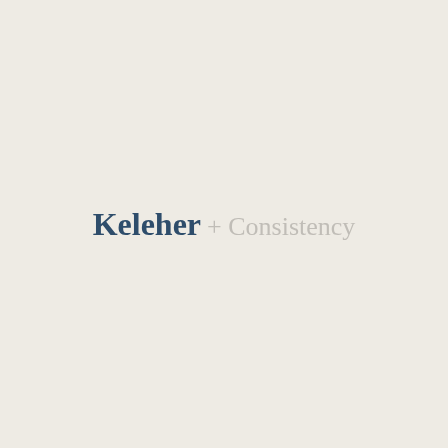[Figure (logo): Keleher + Consistency logo. 'Keleher' in bold dark navy serif font, '+ Consistency' in light gray serif font, on a warm off-white background.]